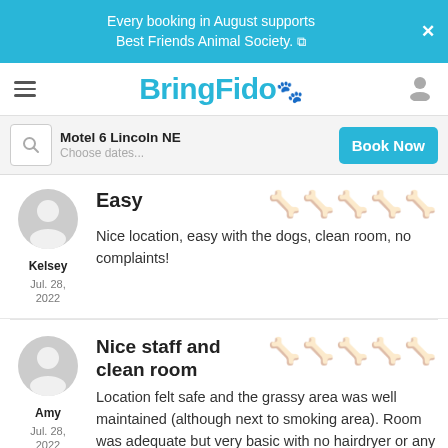Every booking in August supports Best Friends Animal Society.
[Figure (logo): BringFido logo with paw print icon]
Motel 6 Lincoln NE
Choose dates...
Book Now
Easy
Nice location, easy with the dogs, clean room, no complaints!
Kelsey
Jul. 28, 2022
Nice staff and clean room
Location felt safe and the grassy area was well maintained (although next to smoking area). Room was adequate but very basic with no hairdryer or any toiletries other than a bar of
Amy
Jul. 28, 2022